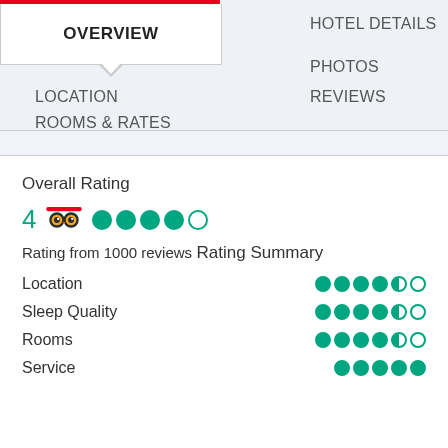OVERVIEW | HOTEL DETAILS | PHOTOS | LOCATION | REVIEWS | ROOMS & RATES
Overall Rating
4  [TripAdvisor logo]  4 out of 5 circles
Rating from 1000 reviews
Rating Summary
Location  — 4.5/5
Sleep Quality  — 4.5/5
Rooms  — 4.5/5
Service  — 5/5